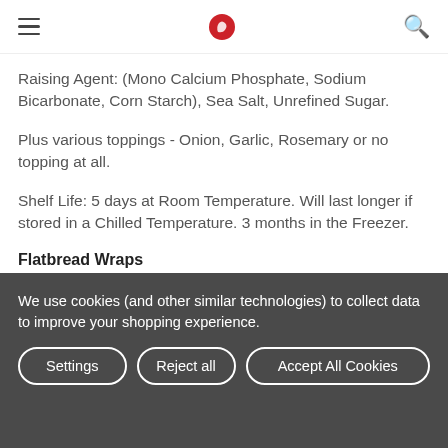[hamburger menu] [logo icon] [search icon]
Raising Agent: (Mono Calcium Phosphate, Sodium Bicarbonate, Corn Starch), Sea Salt, Unrefined Sugar.
Plus various toppings - Onion, Garlic, Rosemary or no topping at all.
Shelf Life: 5 days at Room Temperature. Will last longer if stored in a Chilled Temperature. 3 months in the Freezer.
Flatbread Wraps
We use cookies (and other similar technologies) to collect data to improve your shopping experience.
Settings | Reject all | Accept All Cookies